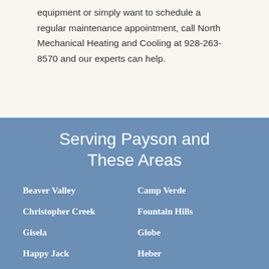equipment or simply want to schedule a regular maintenance appointment, call North Mechanical Heating and Cooling at 928-263-8570 and our experts can help.
Serving Payson and These Areas
Beaver Valley
Camp Verde
Christopher Creek
Fountain Hills
Gisela
Globe
Happy Jack
Heber